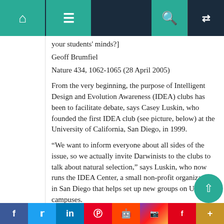Navigation bar with home, menu, search, and random icons
your students' minds?]
Geoff Brumfiel
Nature 434, 1062-1065 (28 April 2005)
From the very beginning, the purpose of Intelligent Design and Evolution Awareness (IDEA) clubs has been to facilitate debate, says Casey Luskin, who founded the first IDEA club (see picture, below) at the University of California, San Diego, in 1999.
“We want to inform everyone about all sides of the issue, so we actually invite Darwinists to the clubs to talk about natural selection,” says Luskin, who now runs the IDEA Center, a small non-profit organization in San Diego that helps set up new groups on US campuses.
Evolution advocates say that researchers should be ca…
Social sharing bar: Facebook, Twitter, LinkedIn, Pinterest, Reddit, Instagram, Flipboard, More